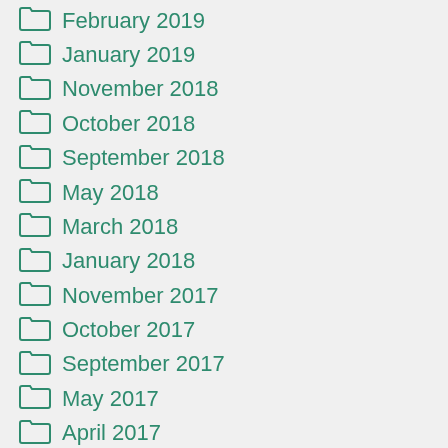February 2019
January 2019
November 2018
October 2018
September 2018
May 2018
March 2018
January 2018
November 2017
October 2017
September 2017
May 2017
April 2017
March 2017
February 2017
December 2016